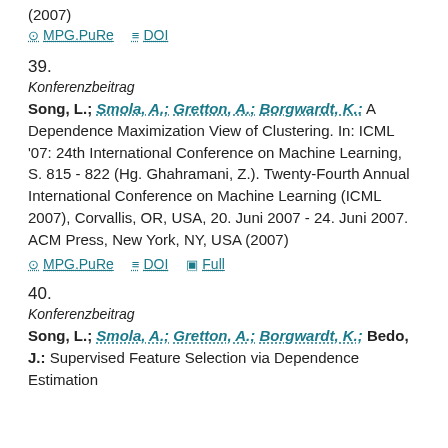(2007)
⊙ MPG.PuRe  ≡ DOI
39.
Konferenzbeitrag
Song, L.; Smola, A.; Gretton, A.; Borgwardt, K.: A Dependence Maximization View of Clustering. In: ICML '07: 24th International Conference on Machine Learning, S. 815 - 822 (Hg. Ghahramani, Z.). Twenty-Fourth Annual International Conference on Machine Learning (ICML 2007), Corvallis, OR, USA, 20. Juni 2007 - 24. Juni 2007. ACM Press, New York, NY, USA (2007)
⊙ MPG.PuRe  ≡ DOI  ▣ Full
40.
Konferenzbeitrag
Song, L.; Smola, A.; Gretton, A.; Borgwardt, K.; Bedo, J.: Supervised Feature Selection via Dependence Estimation